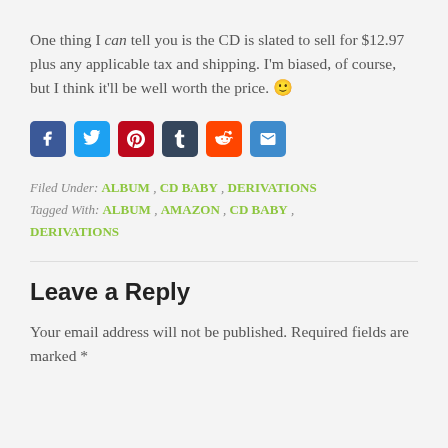One thing I can tell you is the CD is slated to sell for $12.97 plus any applicable tax and shipping. I'm biased, of course, but I think it'll be well worth the price. 🙂
[Figure (infographic): Row of social media share buttons: Facebook (blue), Twitter (light blue), Pinterest (red), Tumblr (dark blue), Reddit (orange-red), Email (blue)]
Filed Under: ALBUM , CD BABY , DERIVATIONS
Tagged With: ALBUM , AMAZON , CD BABY , DERIVATIONS
Leave a Reply
Your email address will not be published. Required fields are marked *